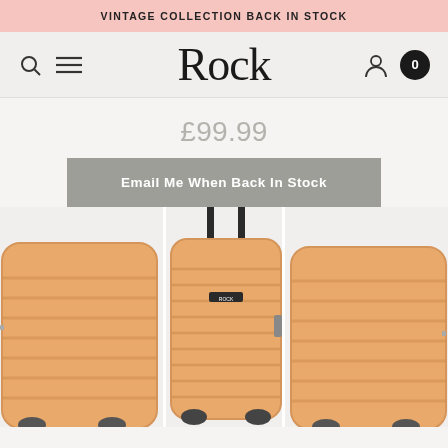VINTAGE COLLECTION BACK IN STOCK
[Figure (logo): Rock luggage brand logo in serif font]
£99.99
Email Me When Back In Stock
[Figure (photo): Orange/peach hard-shell luggage suitcase with telescoping handle, shown from front. Two additional partial luggage views on left and right sides.]